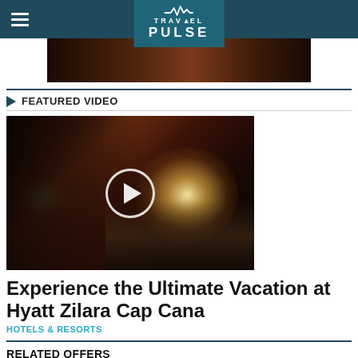TravelPulse
[Figure (screenshot): TravelPulse website header with dark teal navigation bar, hamburger menu, TravelPulse logo, and a banner advertisement image below]
FEATURED VIDEO
[Figure (photo): Video thumbnail showing a woman with curly hair in a dimly lit setting with a play button overlay circle in the center]
Experience the Ultimate Vacation at Hyatt Zilara Cap Cana
HOTELS & RESORTS
RELATED OFFERS